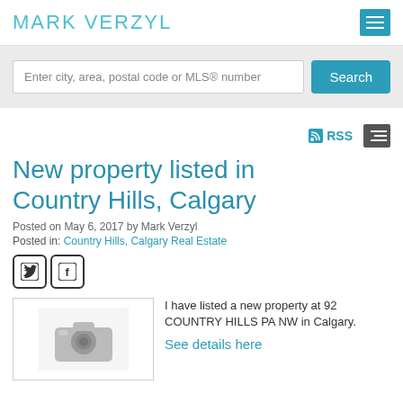MARK VERZYL
[Figure (screenshot): Search bar with placeholder text 'Enter city, area, postal code or MLS® number' and a teal Search button]
RSS
New property listed in Country Hills, Calgary
Posted on May 6, 2017 by Mark Verzyl
Posted in: Country Hills, Calgary Real Estate
[Figure (illustration): Twitter and Facebook social share icons]
[Figure (photo): Placeholder image with camera icon]
I have listed a new property at 92 COUNTRY HILLS PA NW in Calgary.
See details here